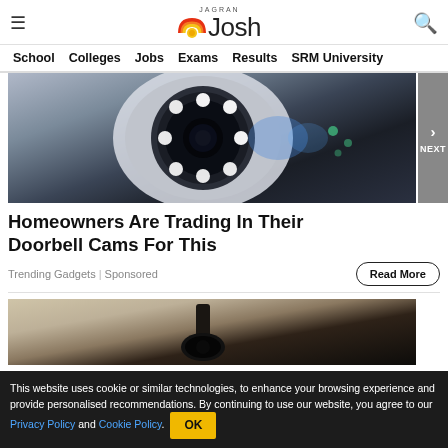Jagran Josh
[Figure (photo): Security camera with blue LED ring light mounted on a wall]
Homeowners Are Trading In Their Doorbell Cams For This
Trending Gadgets | Sponsored
[Figure (photo): Security camera mounted on a textured wall, second article image]
This website uses cookie or similar technologies, to enhance your browsing experience and provide personalised recommendations. By continuing to use our website, you agree to our Privacy Policy and Cookie Policy.